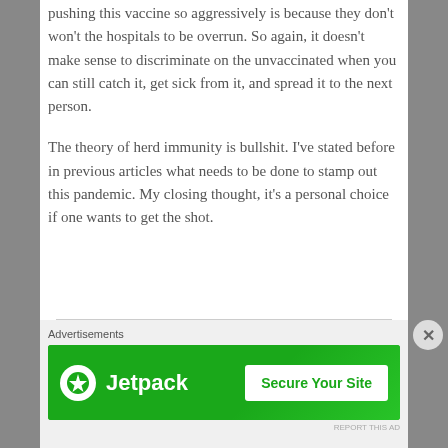pushing this vaccine so aggressively is because they don't won't the hospitals to be overrun. So again, it doesn't make sense to discriminate on the unvaccinated when you can still catch it, get sick from it, and spread it to the next person.
The theory of herd immunity is bullshit. I've stated before in previous articles what needs to be done to stamp out this pandemic. My closing thought, it's a personal choice if one wants to get the shot.
[Figure (other): Jetpack advertisement banner with green background showing Jetpack logo and 'Secure Your Site' button]
Advertisements